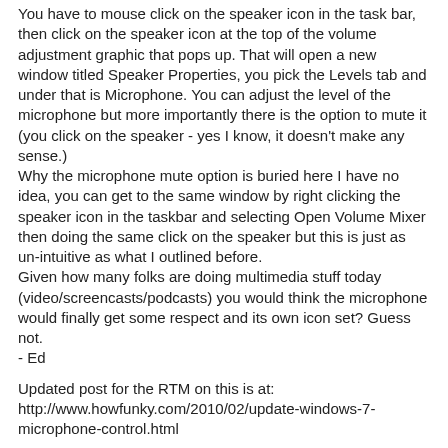You have to mouse click on the speaker icon in the task bar, then click on the speaker icon at the top of the volume adjustment graphic that pops up. That will open a new window titled Speaker Properties, you pick the Levels tab and under that is Microphone. You can adjust the level of the microphone but more importantly there is the option to mute it (you click on the speaker - yes I know, it doesn't make any sense.)
Why the microphone mute option is buried here I have no idea, you can get to the same window by right clicking the speaker icon in the taskbar and selecting Open Volume Mixer then doing the same click on the speaker but this is just as un-intuitive as what I outlined before.
Given how many folks are doing multimedia stuff today (video/screencasts/podcasts) you would think the microphone would finally get some respect and its own icon set? Guess not.
- Ed
Updated post for the RTM on this is at:
http://www.howfunky.com/2010/02/update-windows-7-microphone-control.html